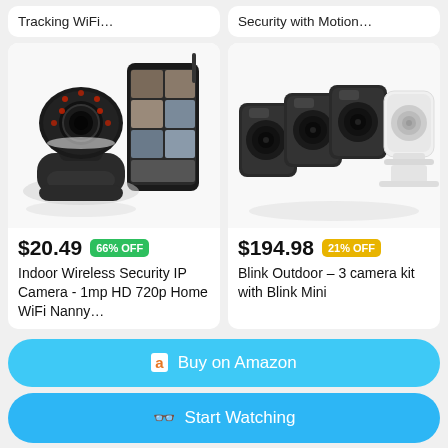Tracking WiFi...
Security with Motion...
[Figure (photo): Indoor wireless security IP camera next to a smartphone showing camera feed]
$20.49  66% OFF
Indoor Wireless Security IP Camera - 1mp HD 720p Home WiFi Nanny...
[Figure (photo): Blink Outdoor 3-camera kit with Blink Mini white camera]
$194.98  21% OFF
Blink Outdoor – 3 camera kit with Blink Mini
Buy on Amazon
Start Watching